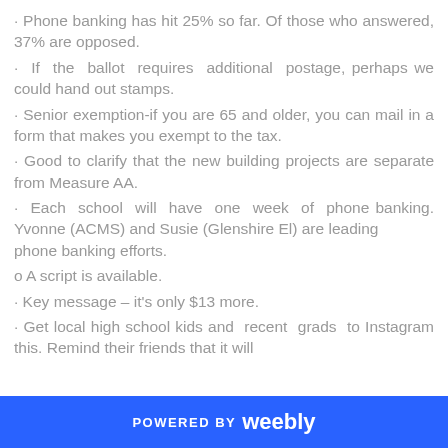· Phone banking has hit 25% so far. Of those who answered, 37% are opposed.
· If the ballot requires additional postage, perhaps we could hand out stamps.
· Senior exemption-if you are 65 and older, you can mail in a form that makes you exempt to the tax.
· Good to clarify that the new building projects are separate from Measure AA.
· Each school will have one week of phone banking. Yvonne (ACMS) and Susie (Glenshire El) are leading phone banking efforts.
o A script is available.
· Key message – it's only $13 more.
· Get local high school kids and recent grads to Instagram this. Remind their friends that it will
POWERED BY weebly